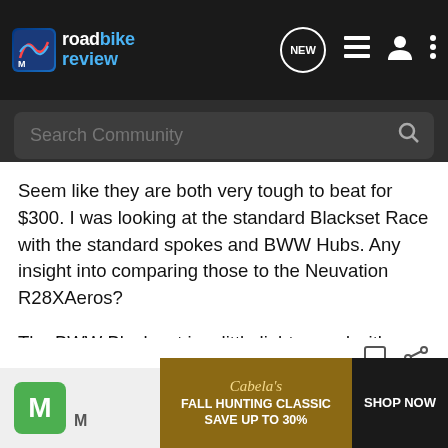[Figure (screenshot): Road Bike Review website navigation bar with logo, NEW chat icon, list icon, user icon, and dots menu icon on dark background]
[Figure (screenshot): Search Community search bar on dark gray background]
Seem like they are both very tough to beat for $300. I was looking at the standard Blackset Race with the standard spokes and BWW Hubs. Any insight into comparing those to the Neuvation R28XAeros?
The BWW Black set is a little lighter, and with more spokes. I do like the look of the R28XAeros spoke pattern though. I don't want to buy just because I think they look cool though...
[Figure (screenshot): Post action icons: bookmark and share, aligned to the right]
[Figure (infographic): Cabela's Fall Hunting Classic Save Up To 30% advertisement banner with Shop Now button. Green M avatar on the left.]